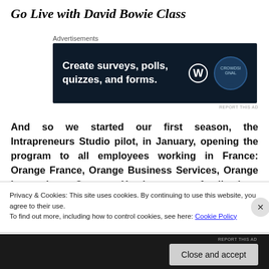Go Live with David Bowie Class
[Figure (screenshot): Advertisement banner with dark navy background showing 'Create surveys, polls, quizzes, and forms.' with WordPress and crown icons]
And so we started our first season, the Intrapreneurs Studio pilot, in January, opening the program to all employees working in France: Orange France, Orange Business Services, Orange Innovation, Orange Headquarters. Applications could be completed online, answering simple
Privacy & Cookies: This site uses cookies. By continuing to use this website, you agree to their use.
To find out more, including how to control cookies, see here: Cookie Policy
Close and accept